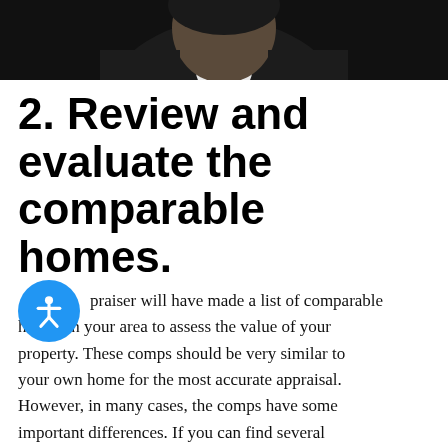[Figure (photo): Partial photo of a person in dark jacket with white shirt/collar, cropped at top of page]
2. Review and evaluate the comparable homes.
The appraiser will have made a list of comparable homes in your area to assess the value of your property. These comps should be very similar to your own home for the most accurate appraisal. However, in many cases, the comps have some important differences. If you can find several variances between your home and the comparable homes from the appraisal, you may be able to contest the appraisal.